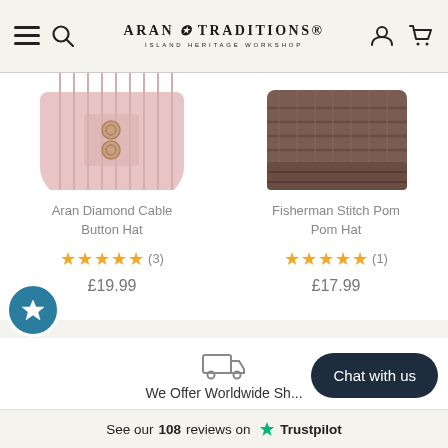Aran Traditions Island Heritage Workshop
[Figure (photo): Pink knitted Aran Diamond Cable Button Hat, partially cropped, showing ribbed texture and button detail]
[Figure (photo): Brown knitted Fisherman Stitch Pom Pom Hat, partially cropped from top]
Aran Diamond Cable Button Hat
★★★★★ (3)
£19.99
Fisherman Stitch Pom Pom Hat
★★★★★ (1)
£17.99
[Figure (illustration): Delivery truck icon]
We Offer Worldwide Sh...
Chat with us
See our 108 reviews on ★ Trustpilot